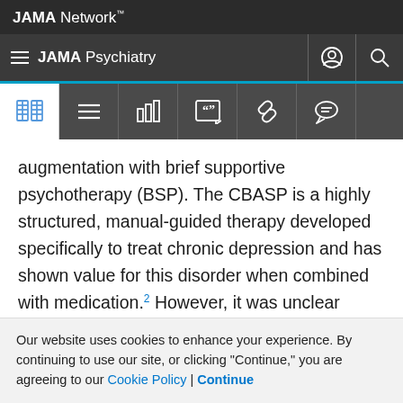JAMA Network
JAMA Psychiatry
[Figure (screenshot): Toolbar with icons: book, menu, bar chart, quote, link, chat bubble]
augmentation with brief supportive psychotherapy (BSP). The CBASP is a highly structured, manual-guided therapy developed specifically to treat chronic depression and has shown value for this disorder when combined with medication.2 However, it was unclear whether CBASP had specific efficacy for chronic depression or whether other psychotherapies would be equally efficacious. To test the specific efficacy of CBASP, we compared CBASP with manual-guided BSP that contained the nonspecific
Our website uses cookies to enhance your experience. By continuing to use our site, or clicking "Continue," you are agreeing to our Cookie Policy | Continue